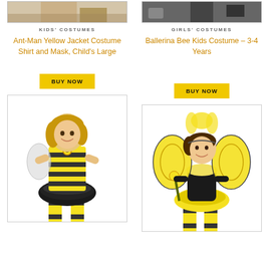[Figure (screenshot): Top cropped product image left - kids in costume (partial, legs and jeans visible)]
[Figure (screenshot): Top cropped product image right - dark costume detail (partial)]
KIDS' COSTUMES
Ant-Man Yellow Jacket Costume Shirt and Mask, Child’s Large
BUY NOW
GIRLS' COSTUMES
Ballerina Bee Kids Costume – 3-4 Years
BUY NOW
[Figure (photo): Girl wearing black and yellow striped bee dress costume with tutu skirt, wings, sunflower, and striped knee socks]
[Figure (photo): Toddler wearing black bumble bee costume with yellow tutu, large yellow and black wings, yellow striped leggings and fluffy collar]